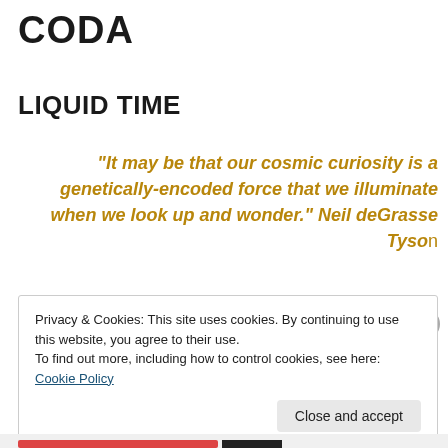CODA
LIQUID TIME
“It may be that our cosmic curiosity is a genetically-encoded force that we illuminate when we look up and wonder.” Neil deGrasse Tyson
Privacy & Cookies: This site uses cookies. By continuing to use this website, you agree to their use.
To find out more, including how to control cookies, see here: Cookie Policy